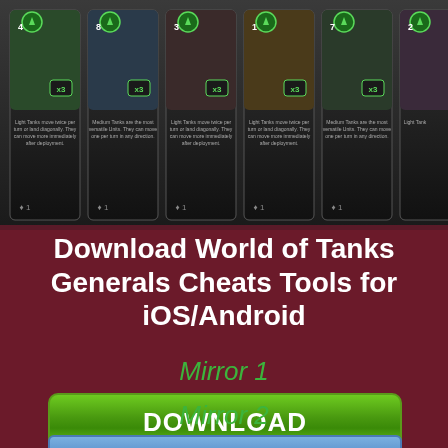[Figure (screenshot): World of Tanks Generals card game screenshot showing multiple tank cards in a row with green diamond icons, x3 multipliers, and tank descriptions on dark background]
Download World of Tanks Generals Cheats Tools for iOS/Android
Mirror 1
[Figure (other): Green DOWNLOAD button with glossy gradient effect]
Mirror 2
[Figure (other): Blue Download button with arrow icon and serif font]